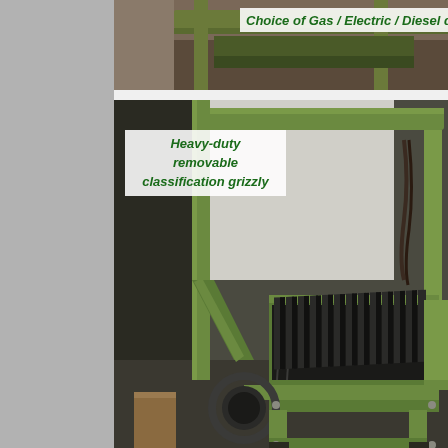[Figure (photo): Top portion of industrial equipment photo showing machinery in a workshop setting with brown/wood tones]
Choice of Gas / Electric / Diesel drive s...
[Figure (photo): Close-up photo of a heavy-duty removable classification grizzly — a green-painted industrial machine with parallel steel bars/tines arranged in a grizzly pattern, mounted on a green steel frame with mechanical components visible underneath, set in an industrial workshop]
Heavy-duty removable classification grizzly